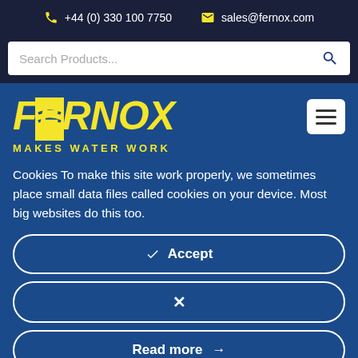+44 (0) 330 100 7750   sales@fernox.com
Search Products...
[Figure (logo): FERNOX MAKES WATER WORK logo in yellow italic bold text on blue background]
Cookies To make this site work properly, we sometimes place small data files called cookies on your device. Most big websites do this too.
✔ Accept
✕
Read more →
[Figure (photo): Bottom portion of page showing people in Fernox branded clothing]